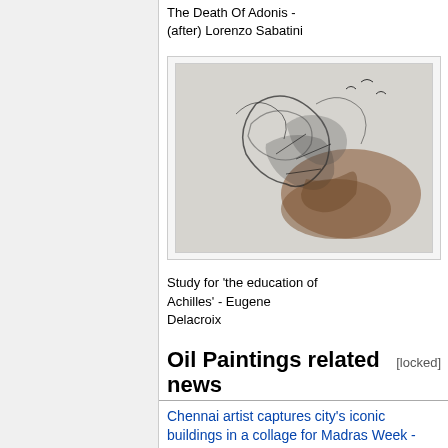The Death Of Adonis - (after) Lorenzo Sabatini
[Figure (illustration): Study for 'the education of Achilles' - Eugene Delacroix, a sketch/watercolor showing dynamic figures with brown and black tones]
Study for 'the education of Achilles' - Eugene Delacroix
Oil Paintings related news
[locked]
Chennai artist captures city's iconic buildings in a collage for Madras Week - The Hindu 🔒
T.S. Queen Mary: The last steamer built on the Clyde is set to shine il...